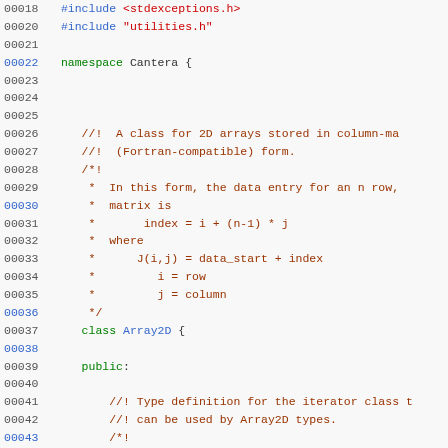[Figure (screenshot): Source code listing showing C++ file with line numbers 00018-00049, featuring namespace Cantera declaration, Array2D class definition with comments describing 2D arrays in column-major (Fortran-compatible) form, and typedef for vector_fp::iterator.]